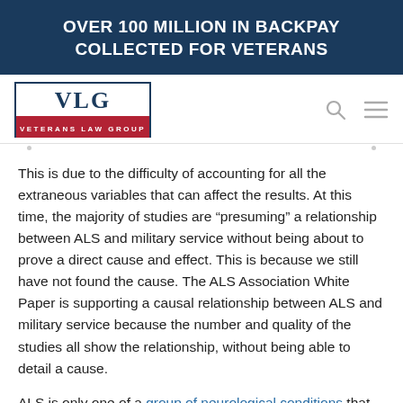OVER 100 MILLION IN BACKPAY COLLECTED FOR VETERANS
[Figure (logo): Veterans Law Group (VLG) logo with blue border, red bottom bar, and navigation icons]
This is due to the difficulty of accounting for all the extraneous variables that can affect the results. At this time, the majority of studies are “presuming” a relationship between ALS and military service without being about to prove a direct cause and effect. This is because we still have not found the cause. The ALS Association White Paper is supporting a causal relationship between ALS and military service because the number and quality of the studies all show the relationship, without being able to detail a cause.
ALS is only one of a group of neurological conditions that seem to affect Gulf War vets at a greater rate than the general population. The VA